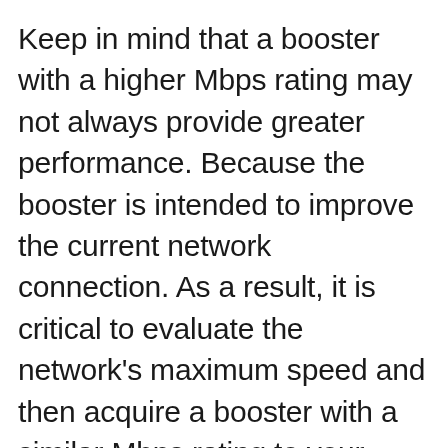Keep in mind that a booster with a higher Mbps rating may not always provide greater performance. Because the booster is intended to improve the current network connection. As a result, it is critical to evaluate the network's maximum speed and then acquire a booster with a similar Mbps rating to your existing network for proper operation.
Selecting a high-speed Wi-Fi booster model over the existing supported